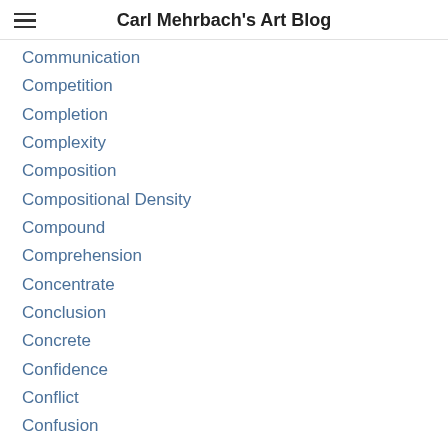Carl Mehrbach's Art Blog
Communication
Competition
Completion
Complexity
Composition
Compositional Density
Compound
Comprehension
Concentrate
Conclusion
Concrete
Confidence
Conflict
Confusion
Congestion
Consciousness
Consequences
Conservative